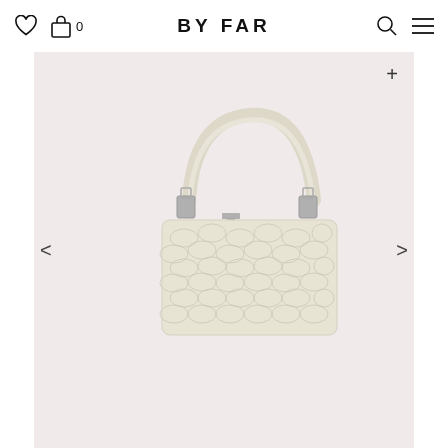BY FAR
[Figure (photo): A white cream croc-embossed leather baguette shoulder bag by BY FAR, photographed against a pale pink background. The bag features a slim top handle with silver hardware clasps.]
+